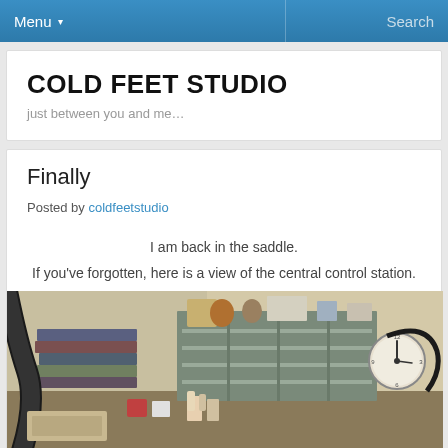Menu ▾   Search
COLD FEET STUDIO
just between you and me…
Finally
Posted by coldfeetstudio
I am back in the saddle.
If you've forgotten, here is a view of the central control station.
[Figure (photo): A cluttered workshop/studio desk area with metal wire shelving, stacks of books, a wall clock, a black hose (vacuum), and various craft supplies and tools.]